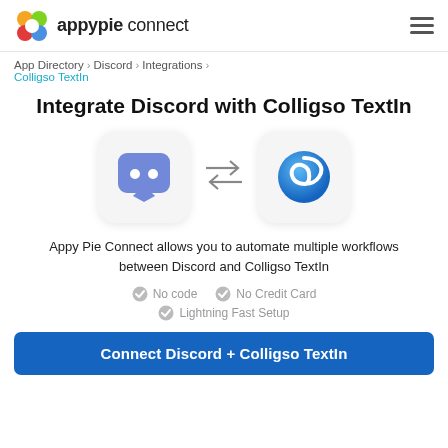appypie connect
App Directory > Discord > Integrations > Colligso TextIn
Integrate Discord with Colligso TextIn
[Figure (illustration): Discord logo icon (purple speech bubble with two dots) on the left, bidirectional arrows in the center, Colligso TextIn logo icon (blue circular swirl) on the right. Both icons are inside rounded square boxes with light grey backgrounds.]
Appy Pie Connect allows you to automate multiple workflows between Discord and Colligso TextIn
No code
No Credit Card
Lightning Fast Setup
Connect Discord + Colligso TextIn